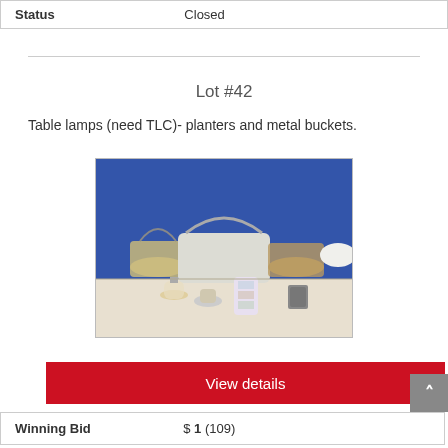| Status |  |
| --- | --- |
| Status | Closed |
Lot #42
Table lamps (need TLC)- planters and metal buckets.
[Figure (photo): Photo of table lamps, planters and metal buckets arranged on a blue background. Items include metal buckets with handles, lamp shades, and decorative items.]
View details
| Winning Bid |  |
| --- | --- |
| Winning Bid | $ 1 (109) |